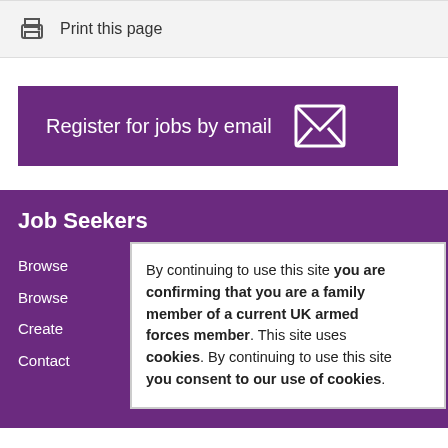Print this page
[Figure (other): Purple button: Register for jobs by email with envelope icon]
Job Seekers
Browse
Browse
Create
Contact
By continuing to use this site you are confirming that you are a family member of a current UK armed forces member. This site uses cookies. By continuing to use this site you consent to our use of cookies.